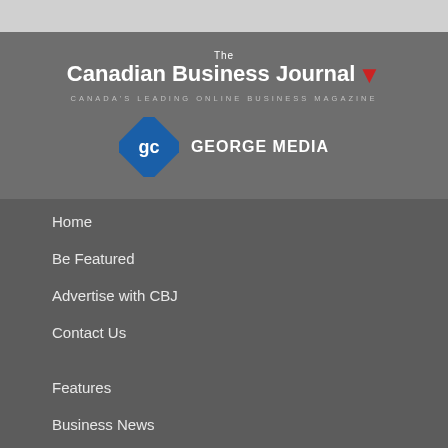[Figure (logo): The Canadian Business Journal logo with red maple leaf and tagline 'Canada's Leading Online Business Magazine', plus George Media logo with blue diamond icon]
Home
Be Featured
Advertise with CBJ
Contact Us
Features
Business News
CBJ News
Editorial